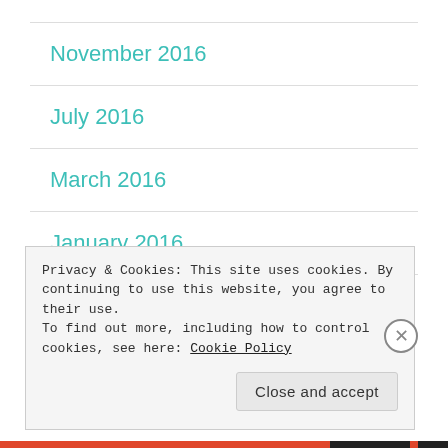November 2016
July 2016
March 2016
January 2016
December 2015
Privacy & Cookies: This site uses cookies. By continuing to use this website, you agree to their use. To find out more, including how to control cookies, see here: Cookie Policy
Close and accept